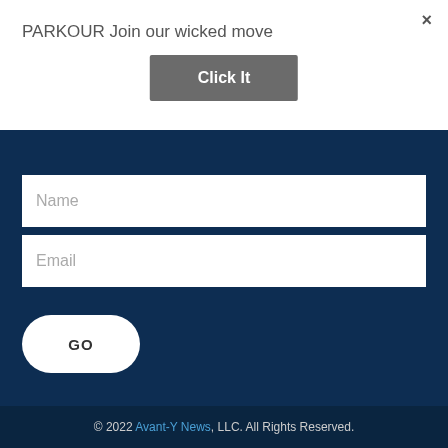×
PARKOUR Join our wicked move
Click It
Name
Email
GO
© 2022 Avant-Y News, LLC. All Rights Reserved.